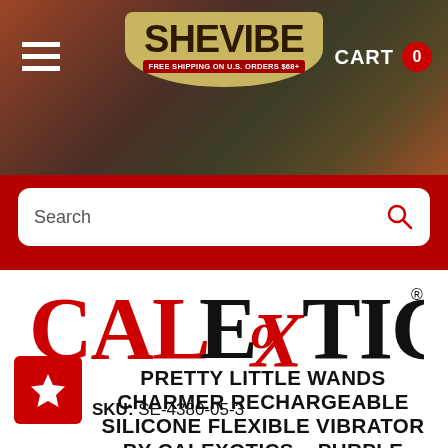[Figure (logo): SheVibe website header with logo, hamburger menu, and cart showing 0 items. Red banner with free shipping text. Search bar below.]
[Figure (logo): CalExotics brand logo in large stylized text with red and black lettering]
PRETTY LITTLE WANDS CHARMER RECHARGEABLE SILICONE FLEXIBLE VIBRATOR BY CALEXOTICS – PURPLE
SKU: SE-4380-05-3